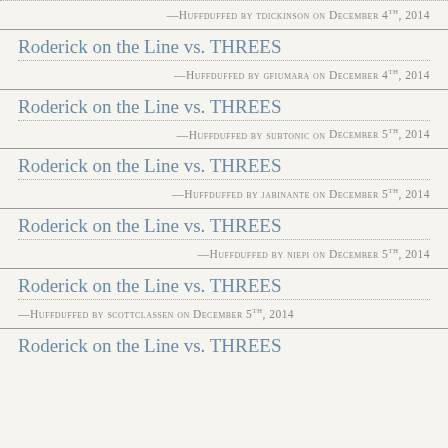—Huffduffed by tdickinson on December 4th, 2014
Roderick on the Line vs. THREES
—Huffduffed by gfiumara on December 4th, 2014
Roderick on the Line vs. THREES
—Huffduffed by subtonic on December 5th, 2014
Roderick on the Line vs. THREES
—Huffduffed by jabinante on December 5th, 2014
Roderick on the Line vs. THREES
—Huffduffed by niepi on December 5th, 2014
Roderick on the Line vs. THREES
—Huffduffed by scottclassen on December 5th, 2014
Roderick on the Line vs. THREES